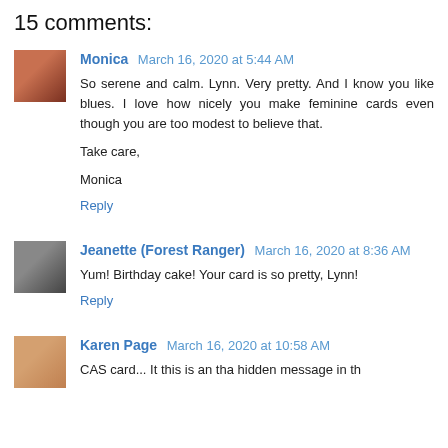15 comments:
Monica March 16, 2020 at 5:44 AM
So serene and calm. Lynn. Very pretty. And I know you like blues. I love how nicely you make feminine cards even though you are too modest to believe that.

Take care,

Monica
Reply
Jeanette (Forest Ranger) March 16, 2020 at 8:36 AM
Yum! Birthday cake! Your card is so pretty, Lynn!
Reply
Karen Page March 16, 2020 at 10:58 AM
CAS card... It this is antha hidden message in the